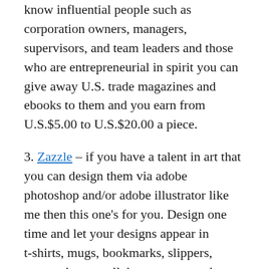know influential people such as corporation owners, managers, supervisors, and team leaders and those who are entrepreneurial in spirit you can give away U.S. trade magazines and ebooks to them and you earn from U.S.$5.00 to U.S.$20.00 a piece.
3. Zazzle – if you have a talent in art that you can design them via adobe photoshop and/or adobe illustrator like me then this one's for you. Design one time and let your designs appear in t-shirts, mugs, bookmarks, slippers, aprons, boots, cellphone covers and more. It's free to start and actually there's no capital provided you already have a computer at home and an internet.